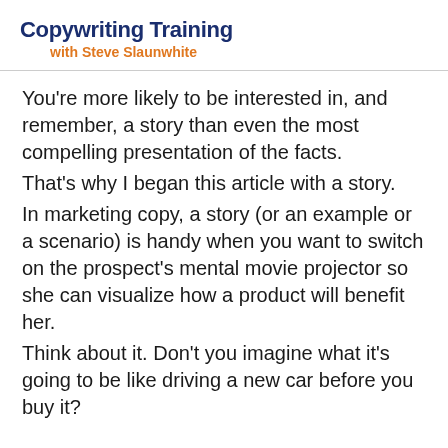Copywriting Training with Steve Slaunwhite
You're more likely to be interested in, and remember, a story than even the most compelling presentation of the facts.
That's why I began this article with a story.
In marketing copy, a story (or an example or a scenario) is handy when you want to switch on the prospect's mental movie projector so she can visualize how a product will benefit her.
Think about it. Don't you imagine what it's going to be like driving a new car before you buy it?